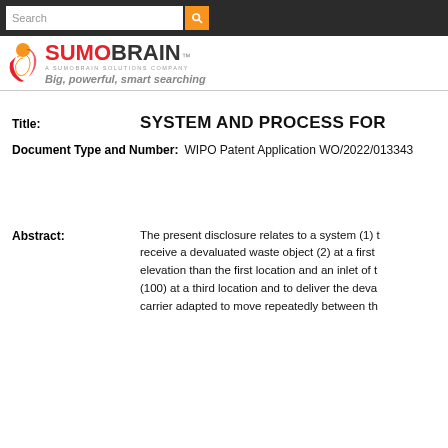Search [search bar] [search button]
[Figure (logo): SumoBrain logo: circular sun/figure icon on left, SUMOBRAIN in red/dark bold text with TM mark, tagline 'A SUMOBRAIN SOLUTIONS COMPANY', 'Big, powerful, smart searching' in gray italic]
Title: SYSTEM AND PROCESS FOR
Document Type and Number: WIPO Patent Application WO/2022/013343
Abstract: The present disclosure relates to a system (1) to receive a devaluated waste object (2) at a first elevation than the first location and an inlet of t (100) at a third location and to deliver the deva carrier adapted to move repeatedly between th